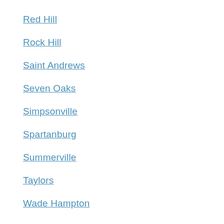Red Hill
Rock Hill
Saint Andrews
Seven Oaks
Simpsonville
Spartanburg
Summerville
Taylors
Wade Hampton